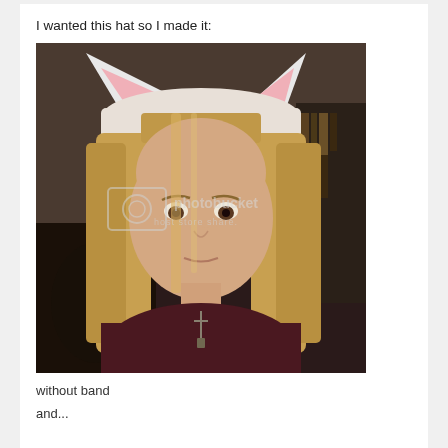I wanted this hat so I made it:
[Figure (photo): A young woman with long straight blonde hair wearing a handmade white and pink cat/animal ear hat. She is wearing a dark maroon hoodie and a cross necklace. The photo has a Photobucket watermark in the center reading 'photobucket host store share'.]
without band
and...